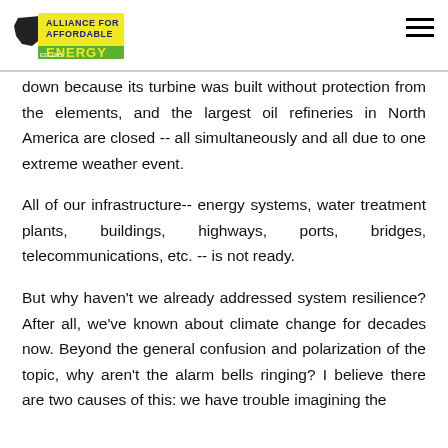Alliance for Affordable Energy
down because its turbine was built without protection from the elements, and the largest oil refineries in North America are closed -- all simultaneously and all due to one extreme weather event.
All of our infrastructure-- energy systems, water treatment plants, buildings, highways, ports, bridges, telecommunications, etc. -- is not ready.
But why haven’t we already addressed system resilience? After all, we’ve known about climate change for decades now. Beyond the general confusion and polarization of the topic, why aren’t the alarm bells ringing? I believe there are two causes of this: we have trouble imagining the